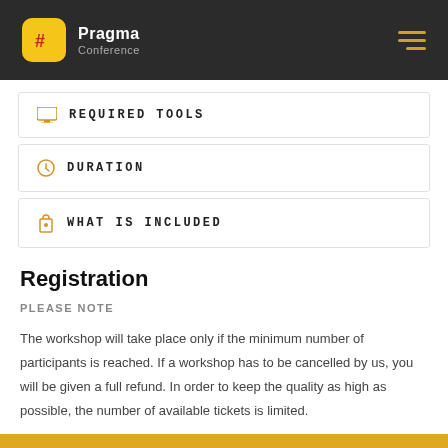Pragma Conference
REQUIRED TOOLS
DURATION
WHAT IS INCLUDED
Registration
PLEASE NOTE
The workshop will take place only if the minimum number of participants is reached. If a workshop has to be cancelled by us, you will be given a full refund. In order to keep the quality as high as possible, the number of available tickets is limited.